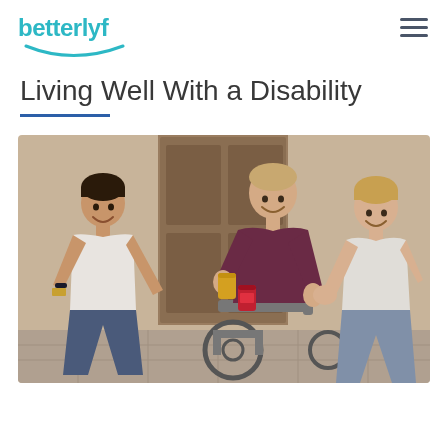betterlyf
Living Well With a Disability
[Figure (photo): Three men socializing outdoors, one in a wheelchair, toasting drinks together while smiling]